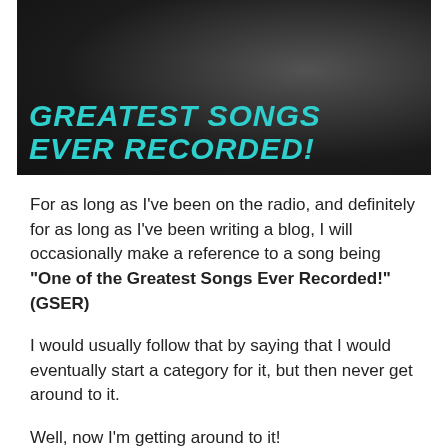[Figure (illustration): Dark banner image with the text 'One of the Greatest Songs Ever Recorded!' in large bold teal/cyan italic uppercase letters overlaid on a black and white photo background.]
For as long as I've been on the radio, and definitely for as long as I've been writing a blog, I will occasionally make a reference to a song being "One of the Greatest Songs Ever Recorded!" (GSER)
I would usually follow that by saying that I would eventually start a category for it, but then never get around to it.
Well, now I'm getting around to it!
My radio show, "Theme Attic,"  is on Wednesdays 12PM-4PM ET.
The show can be heard on WHFR 89.3 FM in the Dearborn-